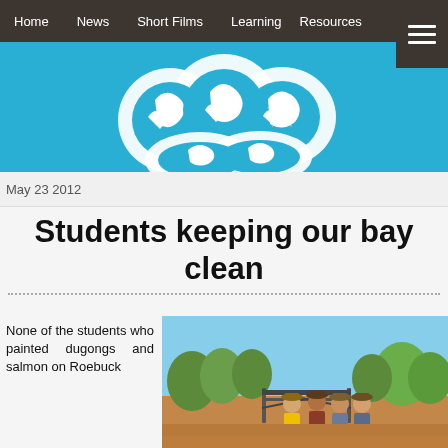Home  News  Short Films  Learning Resources
[Figure (logo): Website logo with white stylized animal/nature icons on cyan/blue background banner]
May 23 2012
Students keeping our bay clean
None of the students who painted dugongs and salmon on Roebuck
[Figure (photo): Group of people wearing hats standing in front of a metal gate on a dirt road with trees in the background under a blue sky]